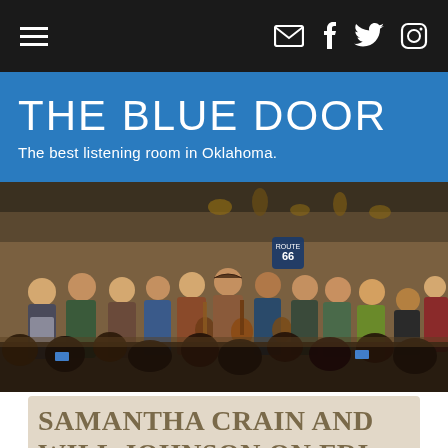≡  ✉ f 🐦 📷
THE BLUE DOOR
The best listening room in Oklahoma.
[Figure (photo): A large group of musicians performing together on a small indoor stage, playing guitars and other instruments, with an audience in the foreground watching and photographing. The venue has a warm, rustic atmosphere with exposed walls and hanging instruments.]
SAMANTHA CRAIN AND WILL JOHNSON ON FRI, JANUARY 8, 2016